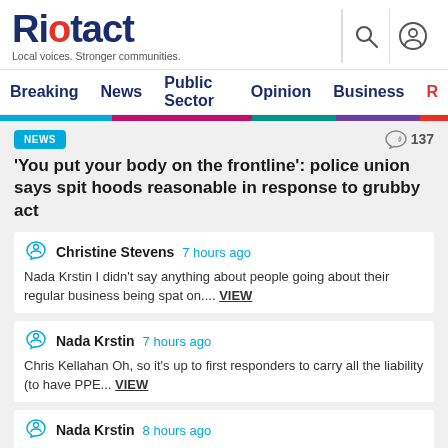[Figure (logo): Riotact logo with tagline 'Local voices. Stronger communities.']
Breaking  News  Public Sector  Opinion  Business  R
NEWS  137
'You put your body on the frontline': police union says spit hoods reasonable in response to grubby act
Christine Stevens  7 hours ago
Nada Krstin I didn't say anything about people going about their regular business being spat on.... VIEW
Nada Krstin  7 hours ago
Chris Kellahan Oh, so it's up to first responders to carry all the liability (to have PPE... VIEW
Nada Krstin  8 hours ago
Peter de Vries lol was thinking the same! Christine and Tim should go out on a date night VIEW